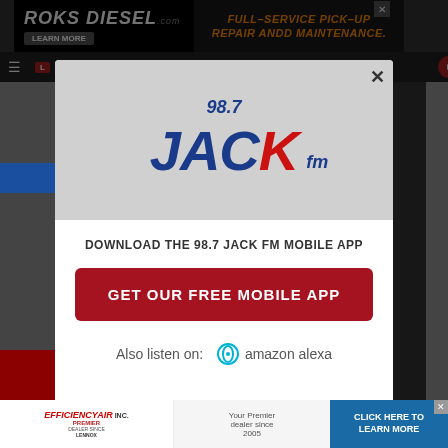[Figure (screenshot): Top advertisement banner for Roks Diesel - Full-Service Pick-Up Repair and Maintenance with Learn More button]
[Figure (logo): 98.7 Jack FM radio station logo in red and blue with stylized lettering]
DOWNLOAD THE 98.7 JACK FM MOBILE APP
GET OUR FREE MOBILE APP
Also listen on:  amazon alexa
[Figure (screenshot): Bottom advertisement for Efficiency Air Inc. Premier Dealer - Click Here to Learn More]